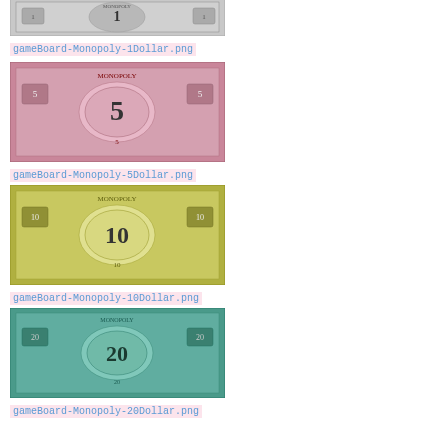[Figure (illustration): Monopoly $1 bill game piece illustration]
gameBoard-Monopoly-1Dollar.png
[Figure (illustration): Monopoly $5 bill game piece illustration, pink/mauve color with number 5]
gameBoard-Monopoly-5Dollar.png
[Figure (illustration): Monopoly $10 bill game piece illustration, yellow-green color with number 10]
gameBoard-Monopoly-10Dollar.png
[Figure (illustration): Monopoly $20 bill game piece illustration, teal/green color with number 20]
gameBoard-Monopoly-20Dollar.png
[Figure (illustration): Monopoly $50 bill game piece illustration, blue-teal color with number 50]
gameBoard-Monopoly-50Dollar.png
[Figure (illustration): Monopoly $100 bill game piece illustration, gold/tan color with number 100 (partially visible)]